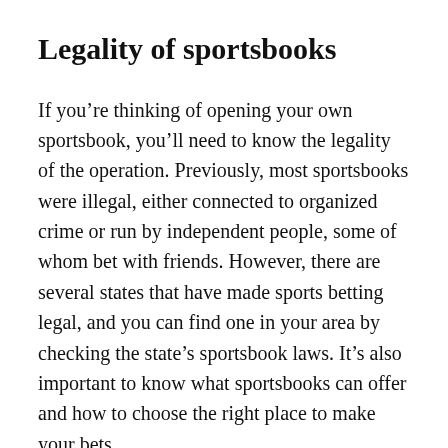Legality of sportsbooks
If you’re thinking of opening your own sportsbook, you’ll need to know the legality of the operation. Previously, most sportsbooks were illegal, either connected to organized crime or run by independent people, some of whom bet with friends. However, there are several states that have made sports betting legal, and you can find one in your area by checking the state’s sportsbook laws. It’s also important to know what sportsbooks can offer and how to choose the right place to make your bets.
Legal sportsbooks should offer a wide variety of